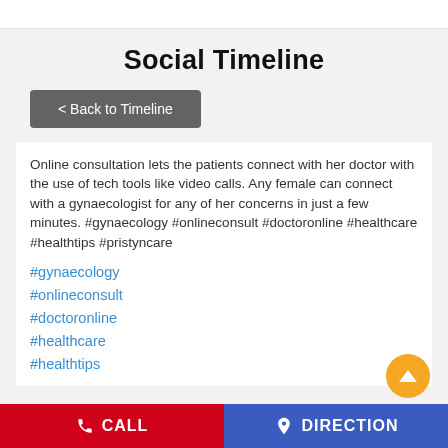Social Timeline
< Back to Timeline
Online consultation lets the patients connect with her doctor with the use of tech tools like video calls. Any female can connect with a gynaecologist for any of her concerns in just a few minutes. #gynaecology #onlineconsult #doctoronline #healthcare #healthtips #pristyncare
#gynaecology
#onlineconsult
#doctoronline
#healthcare
#healthtips
CALL  DIRECTION